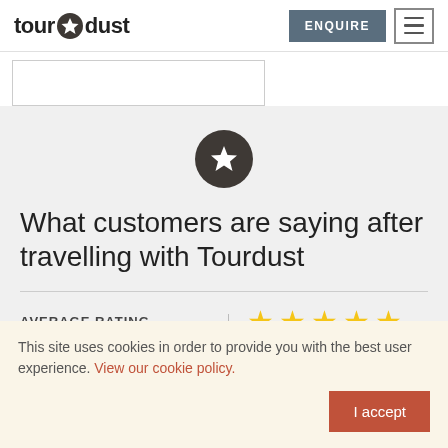[Figure (logo): Tourdust logo with star icon between 'tour' and 'dust']
[Figure (screenshot): ENQUIRE button (dark grey) and hamburger menu button]
[Figure (screenshot): Text input box placeholder area]
[Figure (illustration): Dark circle with white star icon, floating above grey section]
What customers are saying after travelling with Tourdust
AVERAGE RATING
[Figure (illustration): Five gold star rating icons]
This site uses cookies in order to provide you with the best user experience. View our cookie policy.
I accept